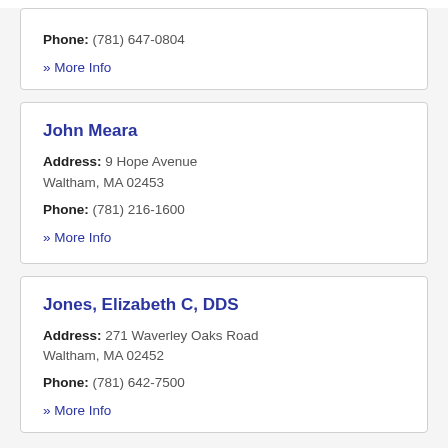Phone: (781) 647-0804
» More Info
John Meara
Address: 9 Hope Avenue Waltham, MA 02453
Phone: (781) 216-1600
» More Info
Jones, Elizabeth C, DDS
Address: 271 Waverley Oaks Road Waltham, MA 02452
Phone: (781) 642-7500
» More Info